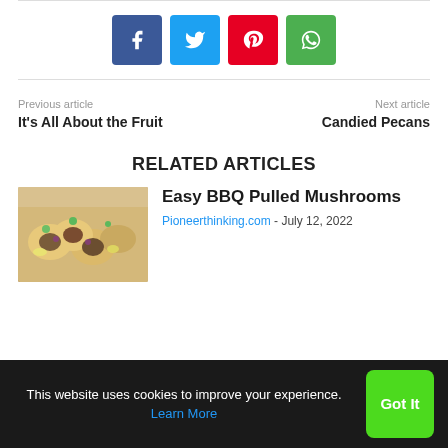[Figure (other): Social share buttons: Facebook (blue), Twitter (cyan), Pinterest (red), WhatsApp (green)]
Previous article
It's All About the Fruit
Next article
Candied Pecans
RELATED ARTICLES
[Figure (photo): Food photo showing small tacos or tostadas with purple cabbage and lime garnish]
Easy BBQ Pulled Mushrooms
Pioneerthinking.com - July 12, 2022
This website uses cookies to improve your experience. Learn More